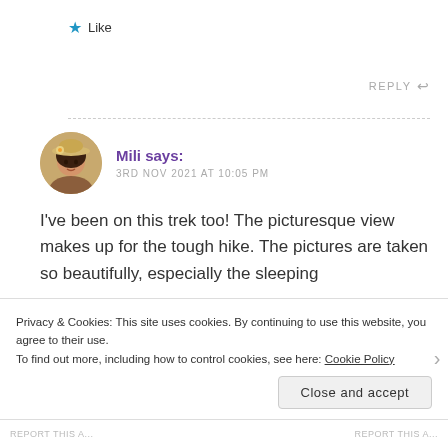★ Like
REPLY ↩
Mili says:
3RD NOV 2021 AT 10:05 PM
[Figure (photo): Circular avatar photo of a woman wearing a decorative hat]
I've been on this trek too! The picturesque view makes up for the tough hike. The pictures are taken so beautifully, especially the sleeping
Privacy & Cookies: This site uses cookies. By continuing to use this website, you agree to their use.
To find out more, including how to control cookies, see here: Cookie Policy
Close and accept